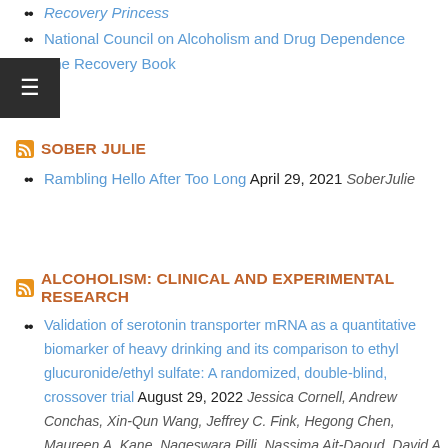Recovery Princess
National Council on Alcoholism and Drug Dependence
The Recovery Book
SOBER JULIE
Rambling Hello After Too Long April 29, 2021 SoberJulie
ALCOHOLISM: CLINICAL AND EXPERIMENTAL RESEARCH
Validation of serotonin transporter mRNA as a quantitative biomarker of heavy drinking and its comparison to ethyl glucuronide/ethyl sulfate: A randomized, double-blind, crossover trial August 29, 2022 Jessica Cornell, Andrew Conchas, Xin-Qun Wang, Jeffrey C. Fink, Hegong Chen, Maureen A. Kane, Nageswara Pilli, Nassima Ait-Daoud, David A. Gorelick, Ming D. Li, Bankole A. Johnson,